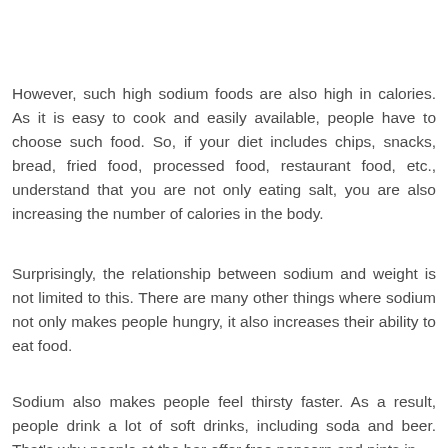However, such high sodium foods are also high in calories. As it is easy to cook and easily available, people have to choose such food. So, if your diet includes chips, snacks, bread, fried food, processed food, restaurant food, etc., understand that you are not only eating salt, you are also increasing the number of calories in the body.
Surprisingly, the relationship between sodium and weight is not limited to this. There are many other things where sodium not only makes people hungry, it also increases their ability to eat food.
Sodium also makes people feel thirsty faster. As a result, people drink a lot of soft drinks, including soda and beer. That's why people at the bar offer free popcorn and pints in